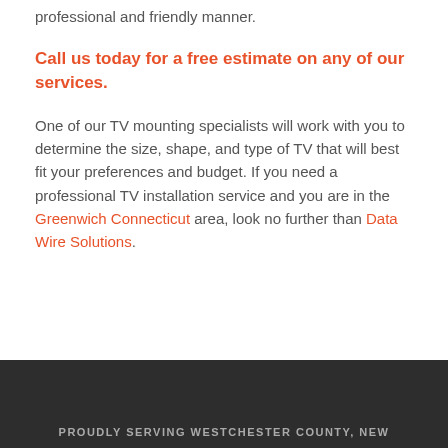professional and friendly manner.
Call us today for a free estimate on any of our services.
One of our TV mounting specialists will work with you to determine the size, shape, and type of TV that will best fit your preferences and budget. If you need a professional TV installation service and you are in the Greenwich Connecticut area, look no further than Data Wire Solutions.
PROUDLY SERVING WESTCHESTER COUNTY, NEW